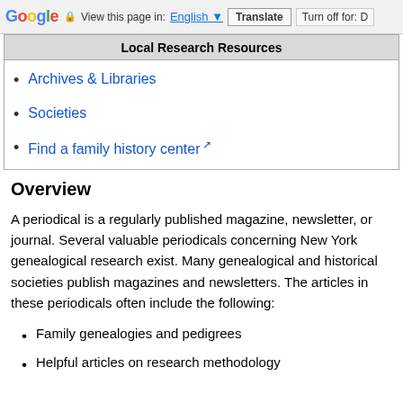Google  View this page in: English  Translate  Turn off for: D
Local Research Resources
Archives & Libraries
Societies
Find a family history center
Overview
A periodical is a regularly published magazine, newsletter, or journal. Several valuable periodicals concerning New York genealogical research exist. Many genealogical and historical societies publish magazines and newsletters. The articles in these periodicals often include the following:
Family genealogies and pedigrees
Helpful articles on research methodology